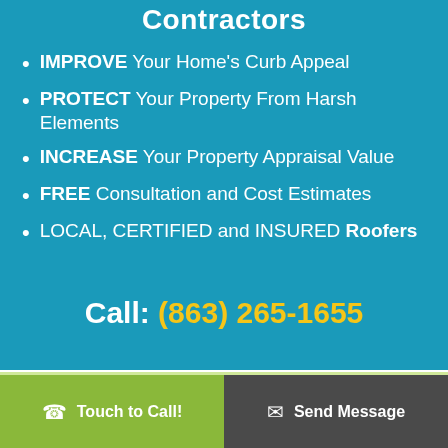Contractors
IMPROVE Your Home's Curb Appeal
PROTECT Your Property From Harsh Elements
INCREASE Your Property Appraisal Value
FREE Consultation and Cost Estimates
LOCAL, CERTIFIED and INSURED Roofers
Call: (863) 265-1655
Touch to Call! | Send Message